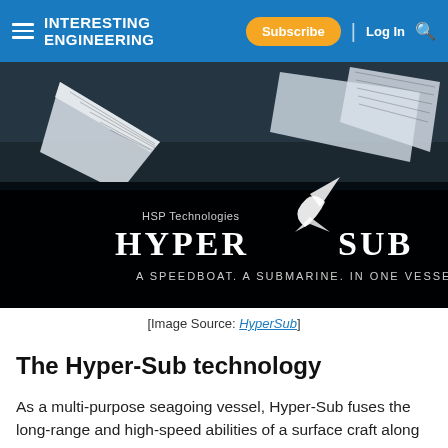INTERESTING ENGINEERING | Subscribe | Log In
[Figure (photo): Aerial/overhead view of the HyperSub vessel by HSP Technologies — a white angular boat hull with fins visible on dark water. Overlaid with the HSP Technologies HYPER SUB logo and tagline: A SPEEDBOAT. A SUBMARINE. IN ONE VESSEL.]
[Image Source: HyperSub]
The Hyper-Sub technology
As a multi-purpose seagoing vessel, Hyper-Sub fuses the long-range and high-speed abilities of a surface craft along with the deep-diving attributes of a